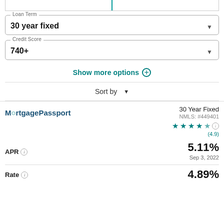Loan Term
30 year fixed
Credit Score
740+
Show more options +
Sort by
30 Year Fixed
NMLS: #449401
MortgagePassport
(4.9)
APR
5.11%
Sep 3, 2022
Rate
4.89%